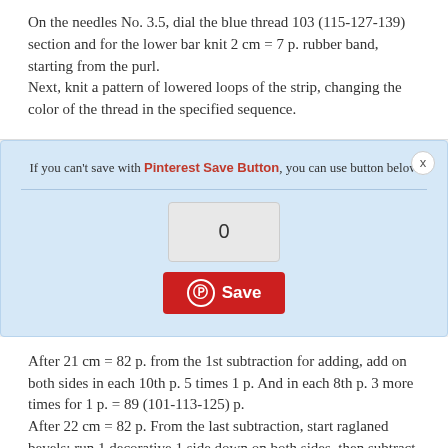On the needles No. 3.5, dial the blue thread 103 (115-127-139) section and for the lower bar knit 2 cm = 7 p. rubber band, starting from the purl.
Next, knit a pattern of lowered loops of the strip, changing the color of the thread in the specified sequence.
If you can't save with Pinterest Save Button, you can use button below
0
Save
After 21 cm = 82 p. from the 1st subtraction for adding, add on both sides in each 10th p. 5 times 1 p. And in each 8th p. 3 more times for 1 p. = 89 (101-113-125) p.
After 22 cm = 82 p. From the last subtraction, start raglaned bevels: run 1 decorative 1 side down on both sides, then subtract in the same way in each 4th p. 6 (4-2-0) times 1 p. And in each of the 2nd p. 20 more (28-36-44) times 1 item = 35 p.
After 18 (20-22-24) cm = 66 (74-82-88) p. from the start of the raglan bevels, the remaining 35 p. close in the